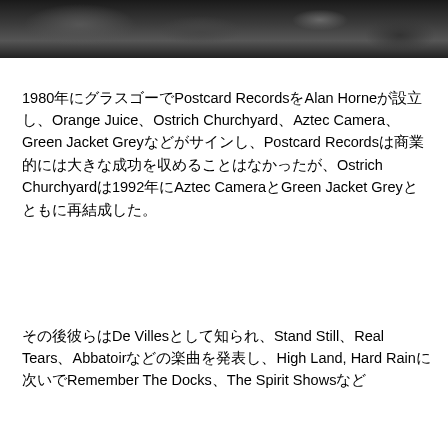[Figure (photo): Black and white photograph strip showing people or musicians, partially visible at the top of the page]
1980年にグラスゴーでPostcard RecordsをAlan Horneが設立し、Orange Juice、Ostrich Churchyard、Aztec Camera、Green Jacket Greyなどがサインし、Postcard Recordsは商業的には大きな成功を収めることはなかったが、Ostrich Churchyardは1992年にAztec CameraとGreen Jacket Greyとともに再結成した。
その後彼らはDe Villesとして知られ、Stand Still、Real Tears、Abbatoirなどの楽曲を発表し、High Land, Hard Rainに次いでRemember The Docks、The Spirit Showsなど